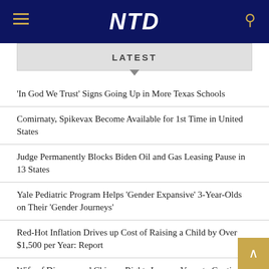NTD
LATEST
'In God We Trust' Signs Going Up in More Texas Schools
Comirnaty, Spikevax Become Available for 1st Time in United States
Judge Permanently Blocks Biden Oil and Gas Leasing Pause in 13 States
Yale Pediatric Program Helps 'Gender Expansive' 3-Year-Olds on Their 'Gender Journeys'
Red-Hot Inflation Drives up Cost of Raising a Child by Over $1,500 per Year: Report
Wife of Disappeared Chinese Rights Lawyer Vows to Continue Searching for Him, 5 Years On